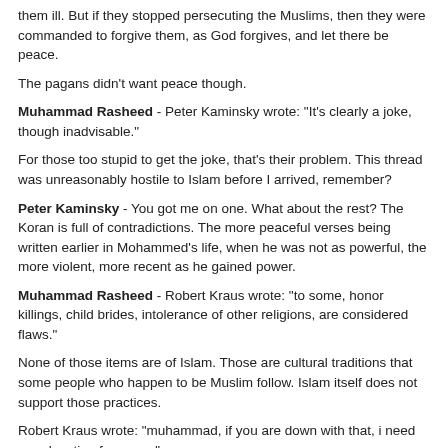them ill. But if they stopped persecuting the Muslims, then they were commanded to forgive them, as God forgives, and let there be peace.
The pagans didn't want peace though.
Muhammad Rasheed - Peter Kaminsky wrote: "It's clearly a joke, though inadvisable."
For those too stupid to get the joke, that's their problem. This thread was unreasonably hostile to Islam before I arrived, remember?
Peter Kaminsky - You got me on one. What about the rest? The Koran is full of contradictions. The more peaceful verses being written earlier in Mohammed's life, when he was not as powerful, the more violent, more recent as he gained power.
Muhammad Rasheed - Robert Kraus wrote: "to some, honor killings, child brides, intolerance of other religions, are considered flaws."
None of those items are of Islam. Those are cultural traditions that some people who happen to be Muslim follow. Islam itself does not support those practices.
Robert Kraus wrote: "muhammad, if you are down with that, i need no education from you."
Obviously you need it more than most. You are just as smart on Islam as that damn Winston Churchill.